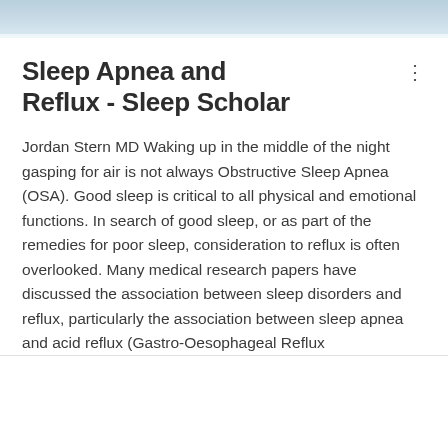[Figure (photo): Partial photo strip at top of page, showing a muted blue-toned image, likely a person or medical context]
Sleep Apnea and Reflux - Sleep Scholar
Jordan Stern MD Waking up in the middle of the night gasping for air is not always Obstructive Sleep Apnea (OSA). Good sleep is critical to all physical and emotional functions. In search of good sleep, or as part of the remedies for poor sleep, consideration to reflux is often overlooked. Many medical research papers have discussed the association between sleep disorders and reflux, particularly the association between sleep apnea and acid reflux (Gastro-Oesophageal Reflux